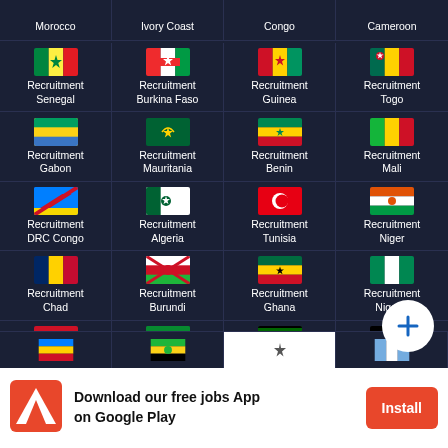[Figure (screenshot): Mobile app screenshot showing a grid of African country recruitment links with flags: Morocco, Ivory Coast, Congo, Cameroon (partial top row), then Senegal, Burkina Faso, Guinea, Togo, Gabon, Mauritania, Benin, Mali, DRC Congo, Algeria, Tunisia, Niger, Chad, Burundi, Ghana, Nigeria, Egypt, Ethiopia, Kenya, Uganda, and partial bottom row. A blue + FAB button overlays bottom-right.]
Download our free jobs App on Google Play
Install